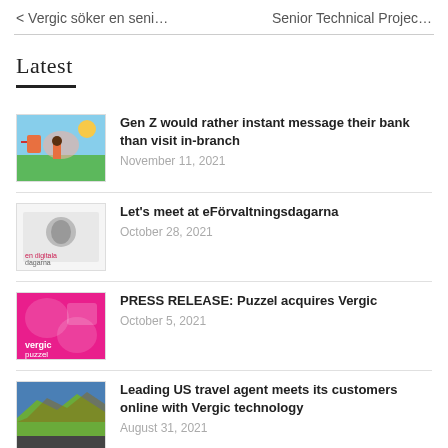< Vergic söker en seni...    Senior Projec...
Latest
Gen Z would rather instant message their bank than visit in-branch
November 11, 2021
Let's meet at eFörvaltningsdagarna
October 28, 2021
PRESS RELEASE: Puzzel acquires Vergic
October 5, 2021
Leading US travel agent meets its customers online with Vergic technology
August 31, 2021
Vergic Engage Allows the Swedish Social Insurance Agency to Interact With More Citizens